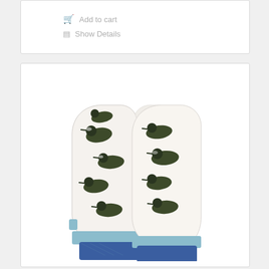Add to cart
Show Details
[Figure (photo): Oven mitts with a loon / duck bird pattern on white fabric, with light blue trim and a dark blue quilted cuff, photographed as a pair side by side.]